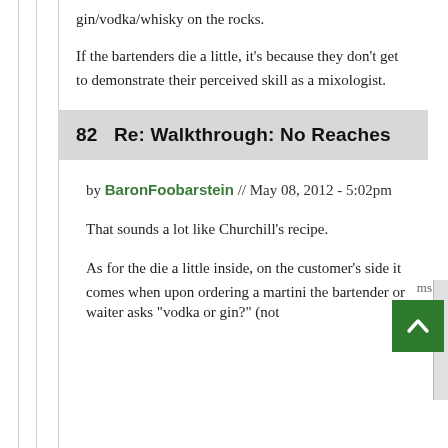gin/vodka/whisky on the rocks.
If the bartenders die a little, it's because they don't get to demonstrate their perceived skill as a mixologist.
82   Re: Walkthrough: No Reaches
by BaronFoobarstein // May 08, 2012 - 5:02pm
That sounds a lot like Churchill's recipe.
As for the die a little inside, on the customer's side it comes when upon ordering a martini the bartender or waiter asks "vodka or gin?" (not